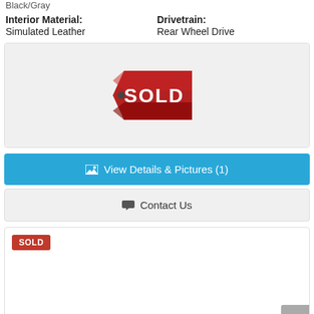Black/Gray
Interior Material: Simulated Leather
Drivetrain: Rear Wheel Drive
[Figure (illustration): Red SOLD tag/badge graphic centered on a light gray background]
View Details & Pictures (1)
Contact Us
SOLD
[Figure (illustration): Back to top arrow button in bottom right corner]